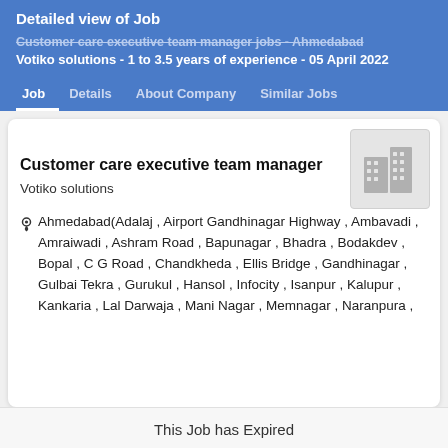Detailed view of Job
Customer care executive team manager jobs - Ahmedabad
Votiko solutions - 1 to 3.5 years of experience - 05 April 2022
Job | Details | About Company | Similar Jobs
Customer care executive team manager
Votiko solutions
Ahmedabad(Adalaj , Airport Gandhinagar Highway , Ambavadi , Amraiwadi , Ashram Road , Bapunagar , Bhadra , Bodakdev , Bopal , C G Road , Chandkheda , Ellis Bridge , Gandhinagar , Gulbai Tekra , Gurukul , Hansol , Infocity , Isanpur , Kalupur , Kankaria , Lal Darwaja , Mani Nagar , Memnagar , Naranpura ,
This Job has Expired